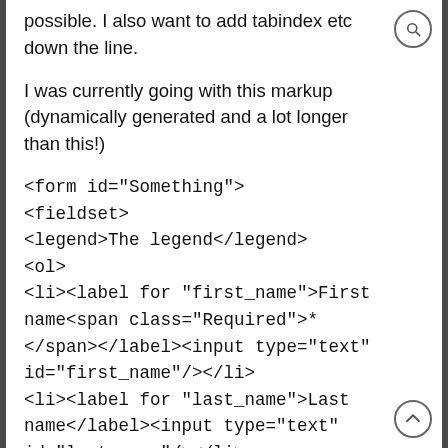possible. I also want to add tabindex etc down the line.
I was currently going with this markup (dynamically generated and a lot longer than this!)
<form id="Something">
<fieldset>
<legend>The legend</legend>
<ol>
<li><label for "first_name">First name<span class="Required">*</span></label><input type="text" id="first_name"/></li>
<li><label for "last_name">Last name</label><input type="text" id="last_name"/></li>